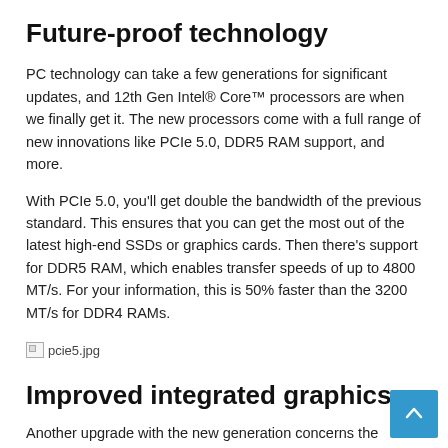Future-proof technology
PC technology can take a few generations for significant updates, and 12th Gen Intel® Core™ processors are when we finally get it. The new processors come with a full range of new innovations like PCIe 5.0, DDR5 RAM support, and more.
With PCIe 5.0, you'll get double the bandwidth of the previous standard. This ensures that you can get the most out of the latest high-end SSDs or graphics cards. Then there's support for DDR5 RAM, which enables transfer speeds of up to 4800 MT/s. For your information, this is 50% faster than the 3200 MT/s for DDR4 RAMs.
[Figure (photo): Broken image placeholder labelled pcie5.jpg]
Improved integrated graphics
Another upgrade with the new generation concerns the graphics. The 12th Gen processors come with Intel® UHD